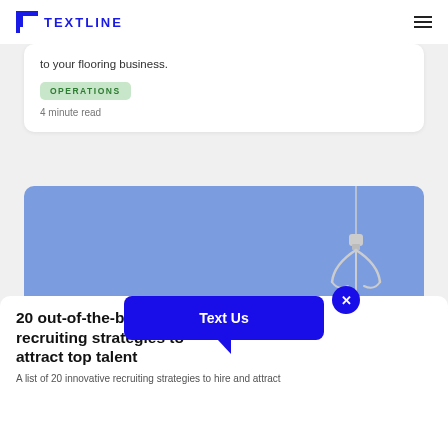TEXTLINE
to your flooring business.
OPERATIONS
4 minute read
[Figure (illustration): Blue background card with a white mechanical claw hanging from a wire, suggesting a recruitment or talent-grabbing concept. Navigation dots at the bottom.]
20 out-of-the-box recruiting strategies to attract top talent
A list of 20 innovative recruiting strategies to hire and attract
[Figure (infographic): Blue speech bubble popup with 'Text Us' label and an X close button]